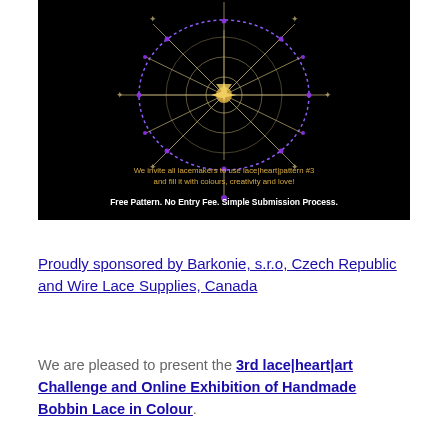[Figure (photo): Black background image of a lace heart pattern (bobbin lace) with text overlay: 'We invite all lacemakers to use lace|heart|pattern #3 and fill it with colours, creativity and love!' and 'Free Pattern. No Entry Fee. Simple Submission Process.']
Proudly sponsored by Barkonie, s.r.o, Czech Republic and Wire Lace Supplies, Canada
We are pleased to present the 3rd lace|heart|art Challenge and Online Exhibition of Handmade Bobbin Lace in Colour.